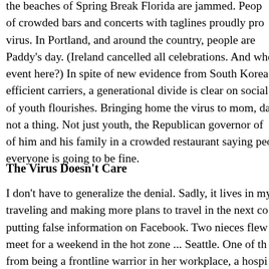Last night, I was monitoring how social distancing was going as the beaches of Spring Break Florida are jammed. People are posting photos of crowded bars and concerts with taglines proudly proclaiming screw the virus. In Portland, and around the country, people are celebrating St. Paddy's day. (Ireland cancelled all celebrations. And where was the big event here?) In spite of new evidence from South Korea that young are efficient carriers, a generational divide is clear on social media. The myth of youth flourishes. Bringing home the virus to mom, dad, grandpa is not a thing. Not just youth, the Republican governor of Oklahoma posted of him and his family in a crowded restaurant saying people are fine and everyone is going to be fine.
The Virus Doesn't Care
I don't have to generalize the denial. Sadly, it lives in my family. A niece traveling and making more plans to travel in the next couple months. A cousin putting false information on Facebook. Two nieces flew across the country to meet for a weekend in the hot zone ... Seattle. One of them just came back from being a frontline warrior in her workplace, a hospital, and was being told by her boss to ignore all the CDC recommendations...